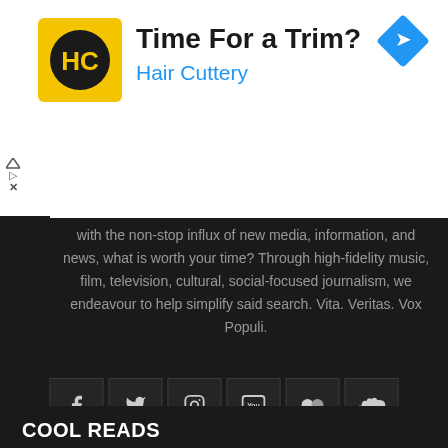[Figure (other): Advertisement banner: Hair Cuttery salon ad with yellow logo showing 'HC' in a circle, headline 'Time For a Trim?' and 'Hair Cuttery' in blue, with a blue navigation diamond arrow icon on the right.]
With the non-stop influx of new media, information, and news, what is worth your time? Through high-fidelity music, film, television, cultural, social-focused journalism, we endeavour to help simplify said search. Vita. Veritas. Vox Populi.
[Figure (other): Row of six social media icon buttons: Facebook, Twitter, Instagram, YouTube, Flickr, SoundCloud — white icons on dark grey bordered square boxes.]
Copyright © 2020 V13 Media, inc. All rights reserved.
COOL READS